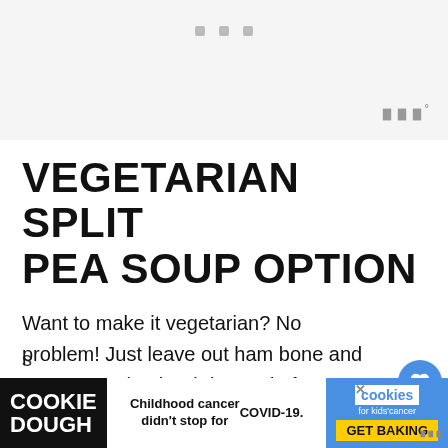[Figure (screenshot): Light gray header area with three small squares and WPRM logo mark in top right]
VEGETARIAN SPLIT PEA SOUP OPTION
Want to make it vegetarian? No problem! Just leave out ham bone and use vegetarian broth instead of chicken broth. Add more spices like basil, cumin and thyme. And i highly recommend adding s
[Figure (infographic): Cookie Dough advertisement banner: Childhood cancer didn't stop for COVID-19. GET BAKING.]